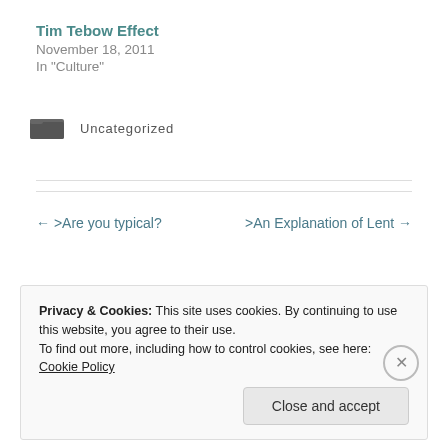Tim Tebow Effect
November 18, 2011
In "Culture"
Uncategorized
← >Are you typical?
>An Explanation of Lent →
Privacy & Cookies: This site uses cookies. By continuing to use this website, you agree to their use.
To find out more, including how to control cookies, see here: Cookie Policy
Close and accept